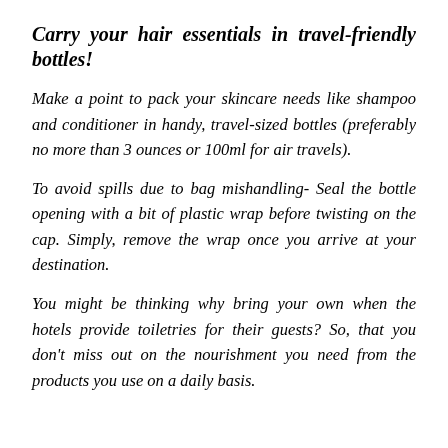Carry your hair essentials in travel-friendly bottles!
Make a point to pack your skincare needs like shampoo and conditioner in handy, travel-sized bottles (preferably no more than 3 ounces or 100ml for air travels).
To avoid spills due to bag mishandling- Seal the bottle opening with a bit of plastic wrap before twisting on the cap. Simply, remove the wrap once you arrive at your destination.
You might be thinking why bring your own when the hotels provide toiletries for their guests? So, that you don't miss out on the nourishment you need from the products you use on a daily basis.